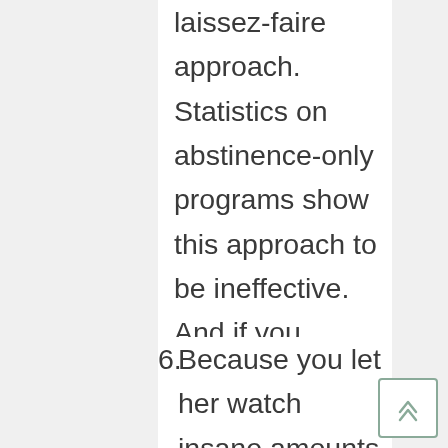laissez-faire approach. Statistics on abstinence-only programs show this approach to be ineffective. And if you divorced, letting the men (or women) you subsequently dated run in and out of your life (and your daughter's life) taught her that significant others, and people in general, are exchangeable. Kids need the truth about sex, and reliable sources of adult support and attachment. This article addresses the issues in both point four and five.
Because you let her watch insane amounts of television. There is a cost to letting the